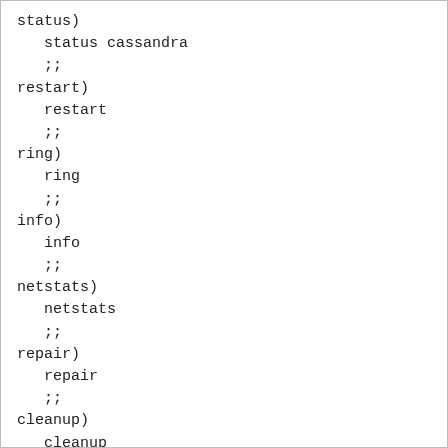status)
  status cassandra
  ;;
restart)
  restart
  ;;
ring)
  ring
  ;;
info)
  info
  ;;
netstats)
  netstats
  ;;
repair)
  repair
  ;;
cleanup)
  cleanup
  ;;
version)